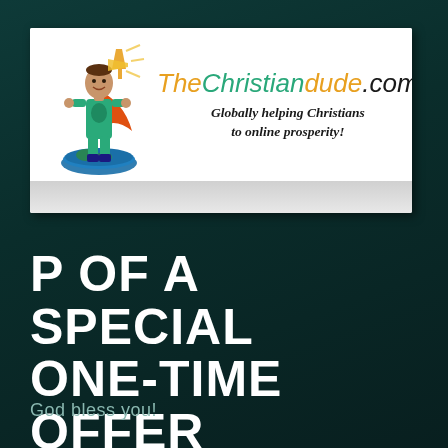[Figure (logo): TheChristiandude.com website banner with a superhero character standing on a globe, an orange cross, and text reading 'Globally helping Christians to online prosperity!']
P OF A SPECIAL ONE-TIME OFFER
God bless you!